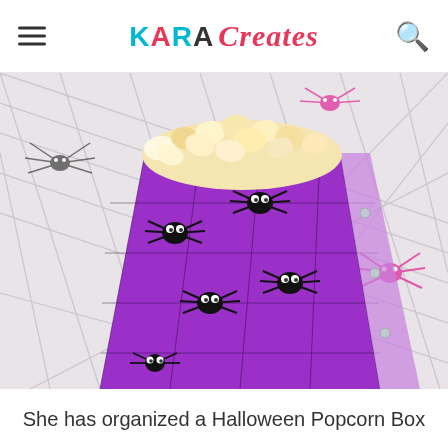KARA Creates
[Figure (photo): Close-up photo of a purple Halloween popcorn box decorated with black spiders and googly eyes, filled with popcorn. Background shows a spider web pattern with pink plastic spiders.]
She has organized a Halloween Popcorn Box